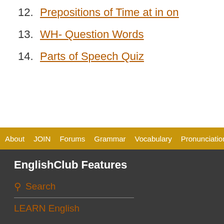12. Prepositions of Time at in on
13. WH- Question Words
14. Parts of Speech Quiz
About  JOIN  Forums  Grammar  Vocabulary  Pronunciation  Listening
EnglishClub Features
Search
LEARN English